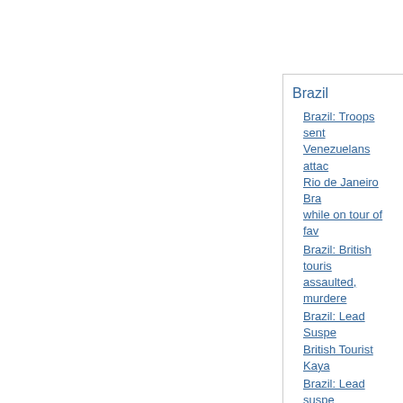Brazil
Brazil: Troops sent Venezuelans attacked Rio de Janeiro Bra while on tour of fav
Brazil: British touris assaulted, murdere
Brazil: Lead Suspe British Tourist Kaya
Brazil: Lead suspe British tourist kayal
Brazil Portuguese So
Center For Study A